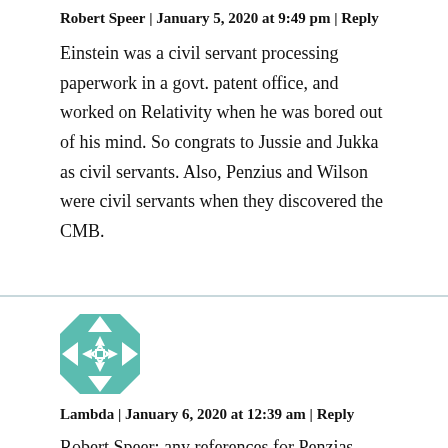Robert Speer | January 5, 2020 at 9:49 pm | Reply
Einstein was a civil servant processing paperwork in a govt. patent office, and worked on Relativity when he was bored out of his mind. So congrats to Jussie and Jukka as civil servants. Also, Penzius and Wilson were civil servants when they discovered the CMB.
[Figure (illustration): Teal and white geometric/quilt-pattern avatar icon for user Lambda]
Lambda | January 6, 2020 at 12:39 am | Reply
Robert Speer: any references for Penzias